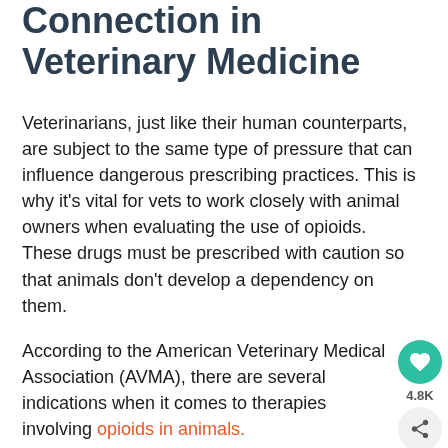Connection in Veterinary Medicine
Veterinarians, just like their human counterparts, are subject to the same type of pressure that can influence dangerous prescribing practices. This is why it's vital for vets to work closely with animal owners when evaluating the use of opioids. These drugs must be prescribed with caution so that animals don't develop a dependency on them.
According to the American Veterinary Medical Association (AVMA), there are several indications when it comes to therapies involving opioids in animals.